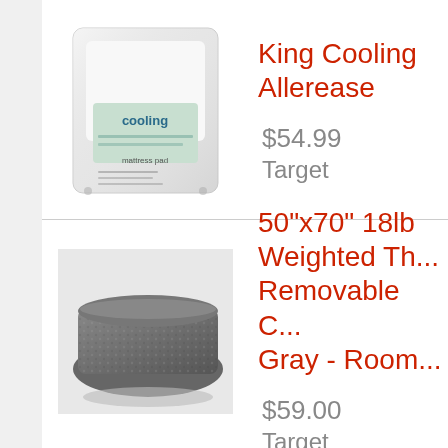[Figure (photo): Packaged King Cooling mattress pad by Allerease in clear plastic packaging with 'cooling' text visible]
King Cooling Allerease
$54.99
Target
[Figure (photo): Folded gray weighted throw blanket on white background]
50"x70" 18lb Weighted Th... Removable C... Gray - Room...
$59.00
Target